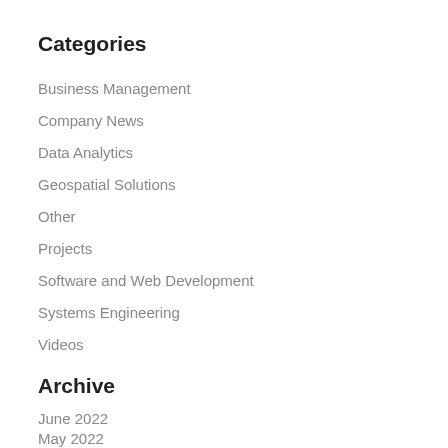Categories
Business Management
Company News
Data Analytics
Geospatial Solutions
Other
Projects
Software and Web Development
Systems Engineering
Videos
Archive
June 2022
May 2022
November 2021
October 2021